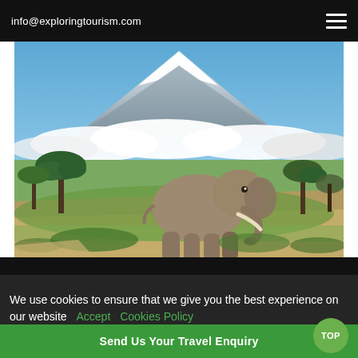info@exploringtourism.com
[Figure (photo): An African elephant walking on savanna grassland with Mount Kilimanjaro snow-capped peak and acacia trees in the background under blue skies with white clouds.]
We use cookies to ensure that we give you the best experience on our website  Accept  Cookies Policy
Send Us Your Travel Enquiry